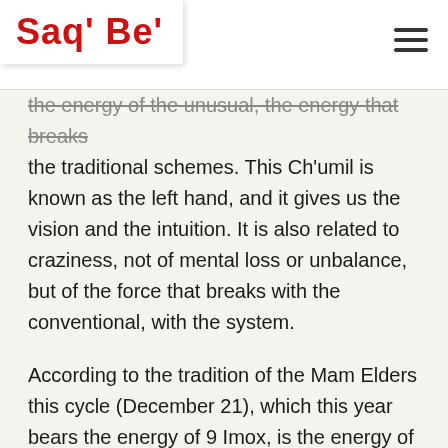Saq' Be'
the energy of the unusual, the energy that breaks the traditional schemes. This Ch'umil is known as the left hand, and it gives us the vision and the intuition. It is also related to craziness, not of mental loss or unbalance, but of the force that breaks with the conventional, with the system.
According to the tradition of the Mam Elders this cycle (December 21), which this year bears the energy of 9 Imox, is the energy of subtleness, of the spiritual openness that comes from Ajaw Imox, who opens dimensional pathways and connects us to the wise ancestors. Our focus should be in connecting with our inner being to develop our internal powers.
This cycle ends on December 25 when it is